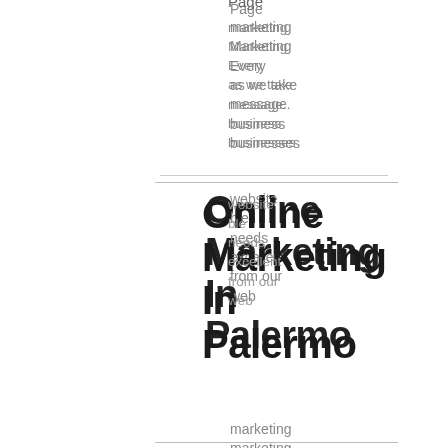Page
marketing
Marketing
Every
as we take
message.
business
businesses
Online
Marketing
In
Palermo
marketing
marketing
Every
and Power
specialists.
business
Online
Online
Marketing
In
Park
River
requires
marketing
an online
presence
destination
and
first
Power
Online
Earn
marketing
more
Online